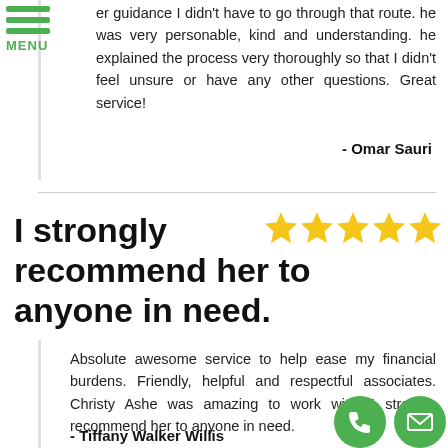MENU
er guidance I didn't have to go through that route. he was very personable, kind and understanding. he explained the process very thoroughly so that I didn't feel unsure or have any other questions. Great service!
- Omar Sauri
I strongly recommend her to anyone in need.
Absolute awesome service to help ease my financial burdens. Friendly, helpful and respectful associates. Christy Ashe was amazing to work with; I strongly recommend her to anyone in need.
- Tiffany Walker Willi s